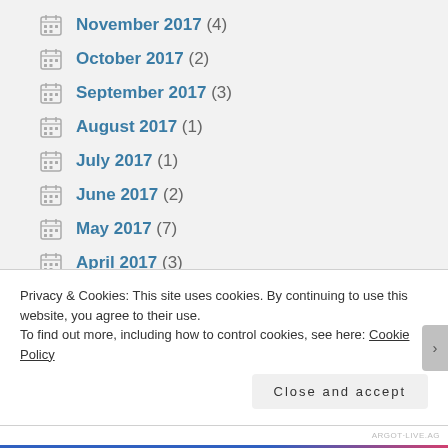November 2017 (4)
October 2017 (2)
September 2017 (3)
August 2017 (1)
July 2017 (1)
June 2017 (2)
May 2017 (7)
April 2017 (3)
March 2017 (2)
Privacy & Cookies: This site uses cookies. By continuing to use this website, you agree to their use.
To find out more, including how to control cookies, see here: Cookie Policy
Close and accept